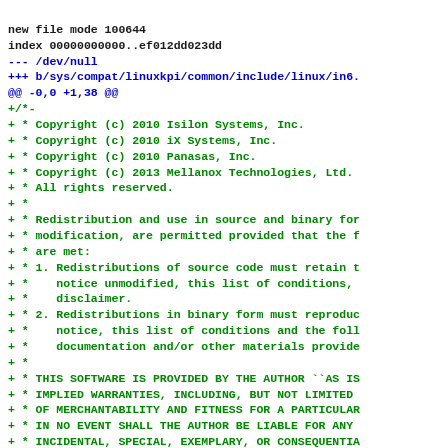new file mode 100644
index 00000000000..ef012dd023dd
--- /dev/null
+++ b/sys/compat/linuxkpi/common/include/linux/in6.
@@ -0,0 +1,38 @@
+/*-
+ * Copyright (c) 2010 Isilon Systems, Inc.
+ * Copyright (c) 2010 iX Systems, Inc.
+ * Copyright (c) 2010 Panasas, Inc.
+ * Copyright (c) 2013 Mellanox Technologies, Ltd.
+ * All rights reserved.
+ *
+ * Redistribution and use in source and binary for
+ * modification, are permitted provided that the f
+ * are met:
+ * 1. Redistributions of source code must retain t
+ *    notice unmodified, this list of conditions,
+ *    disclaimer.
+ * 2. Redistributions in binary form must reproduc
+ *    notice, this list of conditions and the foll
+ *    documentation and/or other materials provide
+ *
+ * THIS SOFTWARE IS PROVIDED BY THE AUTHOR ``AS IS
+ * IMPLIED WARRANTIES, INCLUDING, BUT NOT LIMITED
+ * OF MERCHANTABILITY AND FITNESS FOR A PARTICULAR
+ * IN NO EVENT SHALL THE AUTHOR BE LIABLE FOR ANY
+ * INCIDENTAL, SPECIAL, EXEMPLARY, OR CONSEQUENTIA
+ * NOT LIMITED TO, PROCUREMENT OF SUBSTITUTE GOODS
+ * DATA, OR PROFITS; OR BUSINESS INTERRUPTION) HOW
+ * THEORY OF LIABILITY, WHETHER IN CONTRACT, STRIC
+ * (INCLUDING NEGLIGENCE OR OTHERWISE) ARISING